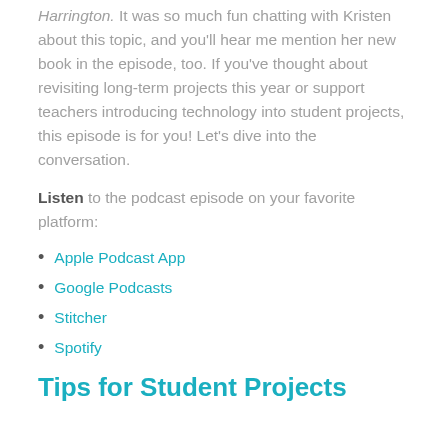Harrington. It was so much fun chatting with Kristen about this topic, and you'll hear me mention her new book in the episode, too. If you've thought about revisiting long-term projects this year or support teachers introducing technology into student projects, this episode is for you! Let's dive into the conversation.
Listen to the podcast episode on your favorite platform:
Apple Podcast App
Google Podcasts
Stitcher
Spotify
Tips for Student Projects